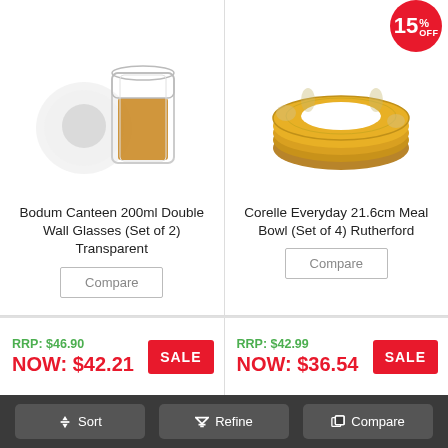[Figure (photo): Two Bodum Canteen 200ml double wall glasses, one lying on its side and one upright containing amber liquid]
Bodum Canteen 200ml Double Wall Glasses (Set of 2) Transparent
Compare
RRP: $46.90
NOW: $42.21
SALE
[Figure (photo): Corelle Everyday 21.6cm Meal Bowls (Set of 4) in Rutherford pattern, stacked, with a 15% OFF badge]
Corelle Everyday 21.6cm Meal Bowl (Set of 4) Rutherford
Compare
RRP: $42.99
NOW: $36.54
SALE
Sort
Refine
Compare